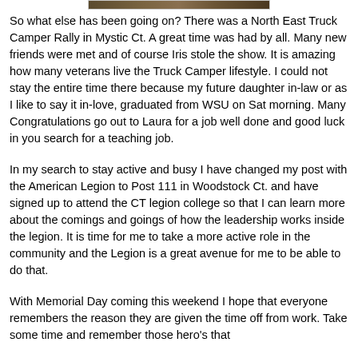[Figure (photo): Partial view of a photo at the top of the page, cropped — shows a dark brownish/earth-toned image strip.]
So what else has been going on?  There was a North East Truck Camper Rally in Mystic Ct.  A great time was had by all.  Many new friends were met and of course Iris stole the show.  It is amazing how many veterans live the Truck Camper lifestyle.  I could not stay the entire time there because my future daughter in-law or as I like to say it in-love, graduated from WSU on Sat morning.  Many Congratulations go out to Laura for a job well done and good luck in you search for a teaching job.
In my search to stay active and busy I have changed my post with the American Legion to Post 111 in Woodstock Ct. and have signed up to attend the CT legion college so that I can learn more about the comings and goings of how the leadership works inside the legion.  It is time for me to take a more active role in the community and the Legion is a great avenue for me to be able to do that.
With Memorial Day coming this weekend I hope that everyone remembers the reason they are given the time off from work.  Take some time and remember those hero's that